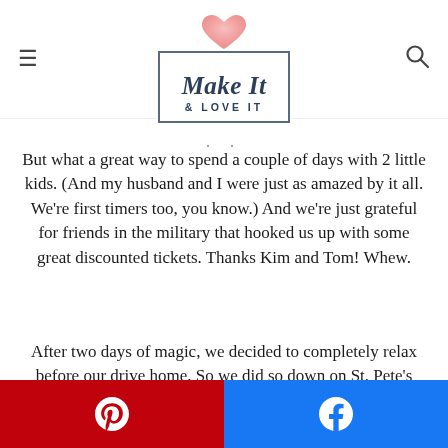Make It & Love It — logo with hamburger menu and search icon
But what a great way to spend a couple of days with 2 little kids.  (And my husband and I were just as amazed by it all.  We're first timers too, you know.)  And we're just grateful for friends in the military that hooked us up with some great discounted tickets.  Thanks Kim and Tom!  Whew.
After two days of magic, we decided to completely relax before our drive home.  So we did so down on St. Pete's beach. (About 1 1/2 hours from Orlando.)
The water was perfect.
[Figure (photo): Photo of a beach scene with buildings in the background and a person in the foreground, blue sky visible]
Pinterest and Facebook social share buttons at the bottom of the page